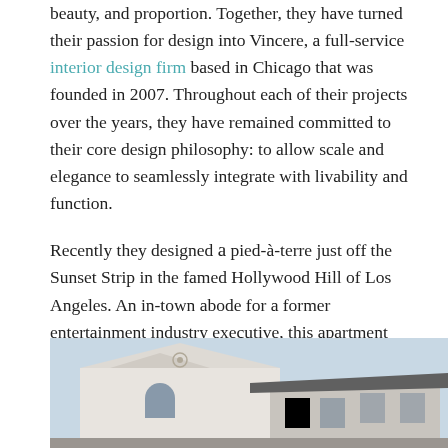beauty, and proportion. Together, they have turned their passion for design into Vincere, a full-service interior design firm based in Chicago that was founded in 2007. Throughout each of their projects over the years, they have remained committed to their core design philosophy: to allow scale and elegance to seamlessly integrate with livability and function.
Recently they designed a pied-à-terre just off the Sunset Strip in the famed Hollywood Hill of Los Angeles. An in-town abode for a former entertainment industry executive, this apartment enjoys vistas of the entire LA Basin. Capitalizing on the verdant views and abundant light. Vincere created a fresh and lively interior, perfectly suited to its location within a historic Hollywood building.
[Figure (photo): Exterior photo of a white historic Hollywood building with Spanish-style architecture, showing roofline and arched window details against a light blue sky.]